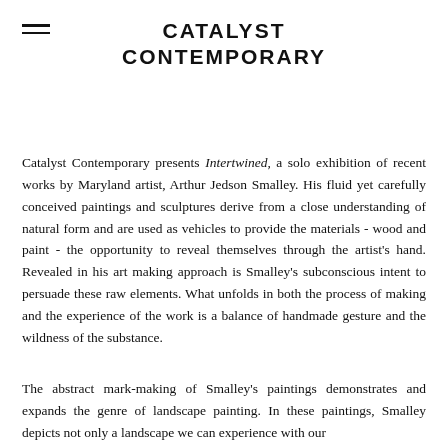CATALYST CONTEMPORARY
Catalyst Contemporary presents Intertwined, a solo exhibition of recent works by Maryland artist, Arthur Jedson Smalley. His fluid yet carefully conceived paintings and sculptures derive from a close understanding of natural form and are used as vehicles to provide the materials - wood and paint - the opportunity to reveal themselves through the artist's hand. Revealed in his art making approach is Smalley's subconscious intent to persuade these raw elements. What unfolds in both the process of making and the experience of the work is a balance of handmade gesture and the wildness of the substance.
The abstract mark-making of Smalley's paintings demonstrates and expands the genre of landscape painting. In these paintings, Smalley depicts not only a landscape we can experience with our